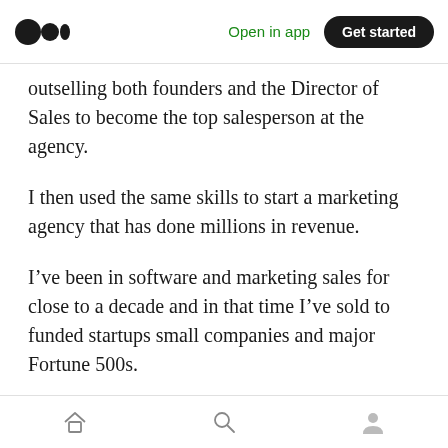Open in app | Get started
outselling both founders and the Director of Sales to become the top salesperson at the agency.
I then used the same skills to start a marketing agency that has done millions in revenue.
I’ve been in software and marketing sales for close to a decade and in that time I’ve sold to funded startups small companies and major Fortune 500s.
What was my secret?
Home | Search | Profile